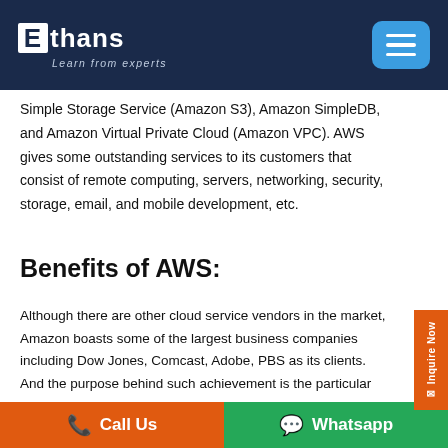Ethans — Learn from experts
Simple Storage Service (Amazon S3), Amazon SimpleDB, and Amazon Virtual Private Cloud (Amazon VPC). AWS gives some outstanding services to its customers that consist of remote computing, servers, networking, security, storage, email, and mobile development, etc.
Benefits of AWS:
Although there are other cloud service vendors in the market, Amazon boasts some of the largest business companies including Dow Jones, Comcast, Adobe, PBS as its clients. And the purpose behind such achievement is the particular advantages that AWS offers.
The various benefits of AWS are as follows:
Call Us    Whatsapp